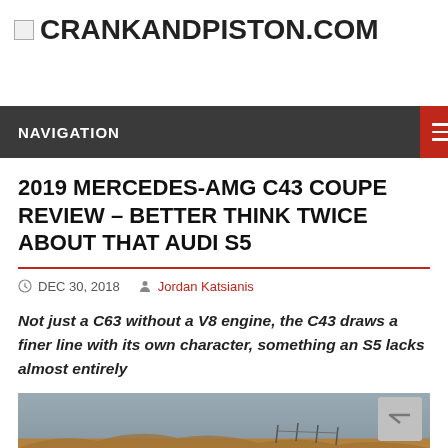CRANKANDPISTON.COM
NAVIGATION
2019 MERCEDES-AMG C43 COUPE REVIEW – BETTER THINK TWICE ABOUT THAT AUDI S5
DEC 30, 2018   Jordan Katsianis
Not just a C63 without a V8 engine, the C43 draws a finer line with its own character, something an S5 lacks almost entirely
[Figure (photo): Partial view of a car on a hillside road with rocky terrain and overcast sky]